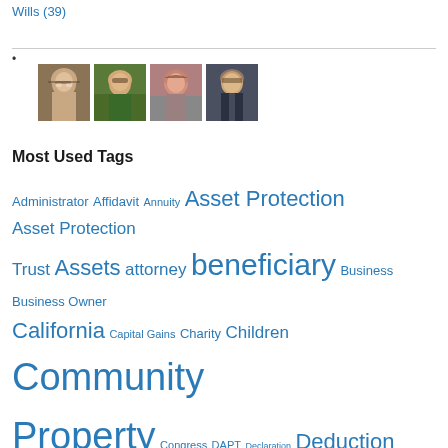Wills (39)
[Figure (photo): Four headshot photos of attorneys/legal professionals]
Most Used Tags
Administrator Affidavit Annuity Asset Protection Asset Protection Trust Assets attorney beneficiary Business Business Owner California Capital Gains Charity Children Community Property Congress DAPT Declaration Deduction Directive Discount Estate Estate Planning Estate Tax Exclusion Amount Executor Exemption Facebook General Administration Gifting Gift Tax Grantor Grantor Retained Annuity Trust